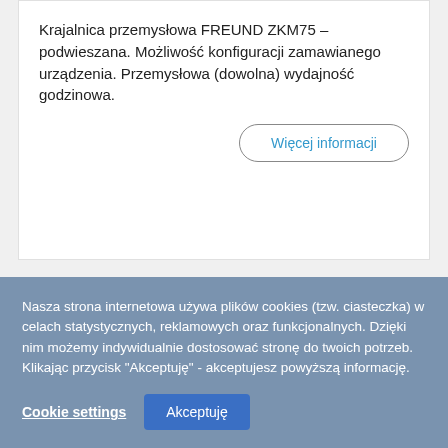Krajalnica przemysłowa FREUND ZKM75 – podwieszana. Możliwość konfiguracji zamawianego urządzenia. Przemysłowa (dowolna) wydajność godzinowa.
Więcej informacji
Nasza strona internetowa używa plików cookies (tzw. ciasteczka) w celach statystycznych, reklamowych oraz funkcjonalnych. Dzięki nim możemy indywidualnie dostosować stronę do twoich potrzeb. Klikając przycisk "Akceptuję" - akceptujesz powyższą informację.
Cookie settings
Akceptuję